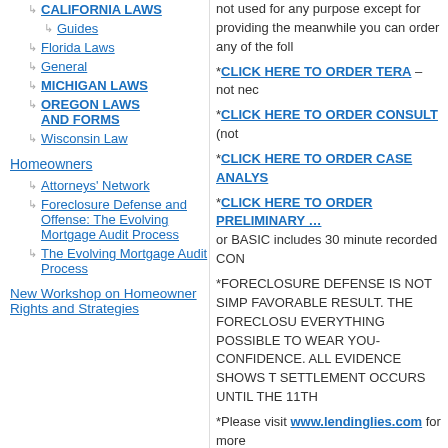CALIFORNIA LAWS
Guides
Florida Laws
General
MICHIGAN LAWS
OREGON LAWS AND FORMS
Wisconsin Law
Homeowners
Attorneys' Network
Foreclosure Defense and Offense: The Evolving Mortgage Audit Process
The Evolving Mortgage Audit Process
New Workshop on Homeowner Rights and Strategies
not used for any purpose except for provid... the meanwhile you can order any of the foll...
*CLICK HERE TO ORDER TERA – not nec...
*CLICK HERE TO ORDER CONSULT (not...
*CLICK HERE TO ORDER CASE ANALYS...
*CLICK HERE TO ORDER PRELIMINARY... or BASIC includes 30 minute recorded CON...
*FORECLOSURE DEFENSE IS NOT SIMP... FAVORABLE RESULT. THE FORECLOSU... EVERYTHING POSSIBLE TO WEAR YOU... CONFIDENCE. ALL EVIDENCE SHOWS T... SETTLEMENT OCCURS UNTIL THE 11TH...
*Please visit www.lendinglies.com for more...
Spread the word
[Figure (infographic): Social share buttons: Facebook (blue circle), Pinterest (red circle), WhatsApp (green circle), Skype (light blue circle), Twitter (blue circle), LinkedIn (dark blue circle), and one more (blue circle)]
Like this:
Like